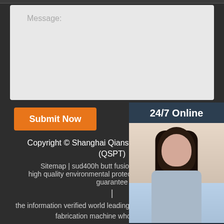[Figure (screenshot): Message text area input field with light gray background and 'Message:' placeholder label]
[Figure (screenshot): Orange 'Submit Now' button]
[Figure (photo): 24/7 Online chat widget sidebar with photo of woman with headset, 'Click here for free chat!' text, and orange QUOTATION button]
Copyright © Shanghai Qianshan Piping Technology (QSPT)
Sitemap | sud400h butt fusion welding machine high quality environmental protection auto duct making guarantee
|
the information verified world leading inspection company duct fabrication machine wholesale agent